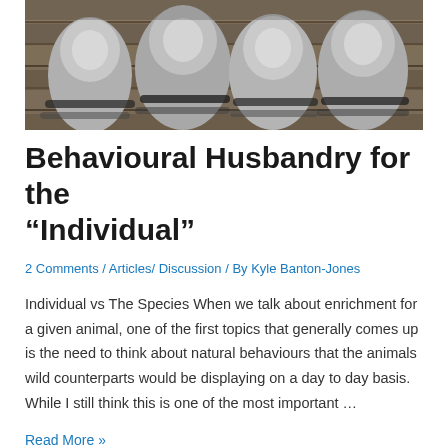[Figure (photo): Group of ring-tailed lemurs sitting on wooden planks, viewed from behind, showing their distinctive black and white striped tails and grey fur]
Behavioural Husbandry for the “Individual”
2 Comments / Articles/ Discussion / By Kyle Banton-Jones
Individual vs The Species When we talk about enrichment for a given animal, one of the first topics that generally comes up is the need to think about natural behaviours that the animals wild counterparts would be displaying on a day to day basis. While I still think this is one of the most important …
Read More »